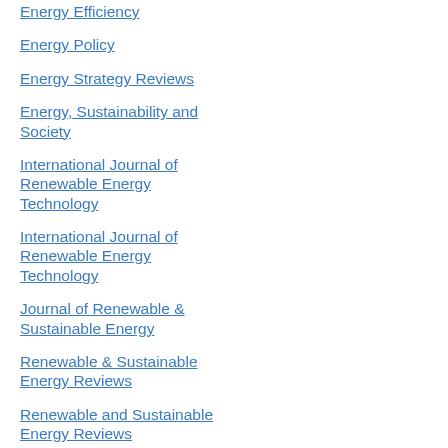Energy Efficiency
Energy Policy
Energy Strategy Reviews
Energy, Sustainability and Society
International Journal of Renewable Energy Technology
International Journal of Renewable Energy Technology
Journal of Renewable & Sustainable Energy
Renewable & Sustainable Energy Reviews
Renewable and Sustainable Energy Reviews
Renewable Energy
Renewable Energy Law & Policy Review